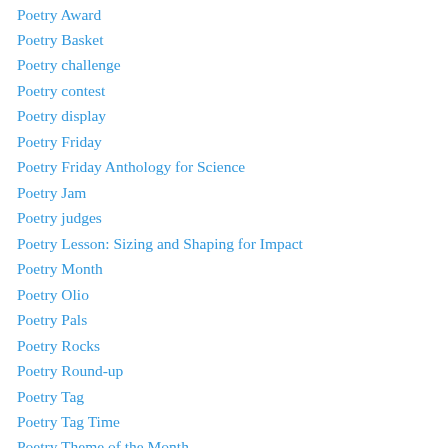Poetry Award
Poetry Basket
Poetry challenge
Poetry contest
Poetry display
Poetry Friday
Poetry Friday Anthology for Science
Poetry Jam
Poetry judges
Poetry Lesson: Sizing and Shaping for Impact
Poetry Month
Poetry Olio
Poetry Pals
Poetry Rocks
Poetry Round-up
Poetry Tag
Poetry Tag Time
Poetry Theme of the Month
Poetry Tips
Poetry Winners